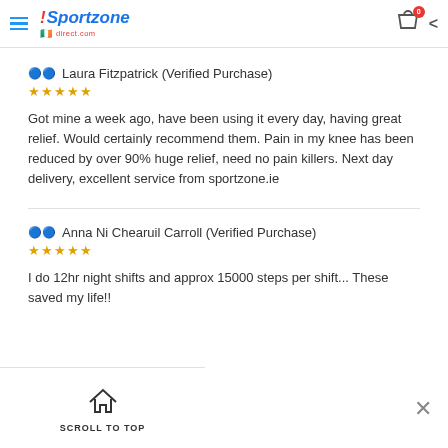Sportzone direct.com — navigation header with cart icon
Laura Fitzpatrick (Verified Purchase)
★★★★★
Got mine a week ago, have been using it every day, having great relief. Would certainly recommend them. Pain in my knee has been reduced by over 90% huge relief, need no pain killers. Next day delivery, excellent service from sportzone.ie
Anna Ni Chearuil Carroll (Verified Purchase)
★★★★★
I do 12hr night shifts and approx 15000 steps per shift... These saved my life!!